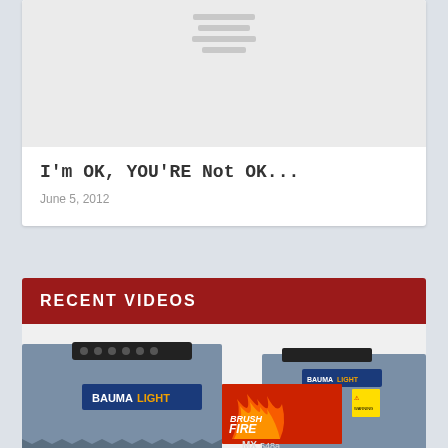[Figure (screenshot): Gray placeholder image with hamburger/menu lines icon in center]
I'm OK, YOU'RE Not OK...
June 5, 2012
RECENT VIDEOS
[Figure (photo): Photo of BaumaLight Brush Fire MX 548a industrial machine, gray colored with BaumaLight branding and flame graphics]